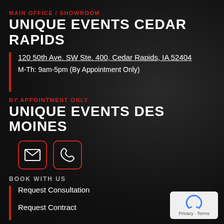MAIN OFFICE / SHOWROOM
UNIQUE EVENTS CEDAR RAPIDS
120 50th Ave. SW Ste. 400, Cedar Rapids, IA 52404
M-Th: 9am-5pm (By Appointment Only)
BY APPOINTMENT ONLY
UNIQUE EVENTS DES MOINES
[Figure (illustration): Two icon buttons with red rounded borders: an envelope/email icon and a phone icon]
BOOK WITH US
Request Consultation
Request Contract
[Figure (logo): reCAPTCHA privacy badge with recycling-style arrows logo and 'Privacy - Terms' text]